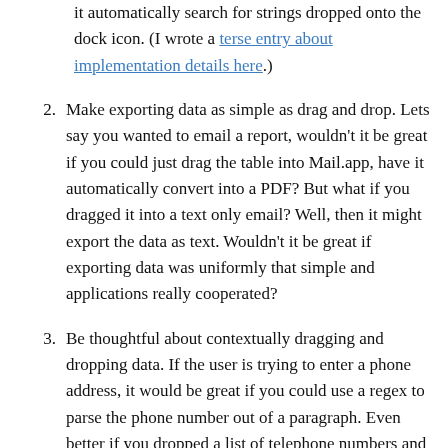it automatically search for strings dropped onto the dock icon. (I wrote a terse entry about implementation details here.)
2. Make exporting data as simple as drag and drop. Lets say you wanted to email a report, wouldn't it be great if you could just drag the table into Mail.app, have it automatically convert into a PDF? But what if you dragged it into a text only email? Well, then it might export the data as text. Wouldn't it be great if exporting data was uniformly that simple and applications really cooperated?
3. Be thoughtful about contextually dragging and dropping data. If the user is trying to enter a phone address, it would be great if you could use a regex to parse the phone number out of a paragraph. Even better if you dropped a list of telephone numbers and it identified and added all of them. We're used to strict standards for the input we give applications, but there is the real potential for users to fall